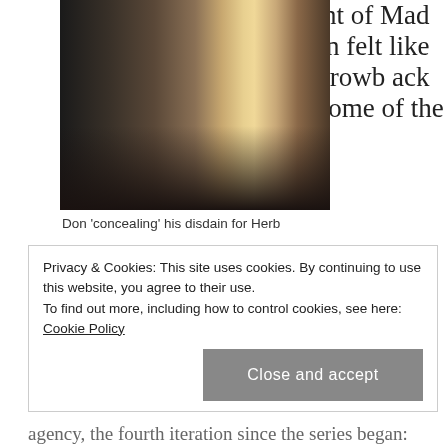[Figure (photo): Two people sitting at a restaurant dinner table, man in dark suit on left, woman in sparkly dress on right, with lamp and glassware visible]
Don 'concealing' his disdain for Herb
ment of Mad Men felt like a throwback to some of the earlier days of the series, with Don Draper focused on trying to land a top client, having already lost another; Roger Sterling using his charm and a caper
Privacy & Cookies: This site uses cookies. By continuing to use this website, you agree to their use.
To find out more, including how to control cookies, see here: Cookie Policy
Close and accept
agency, the fourth iteration since the series began: